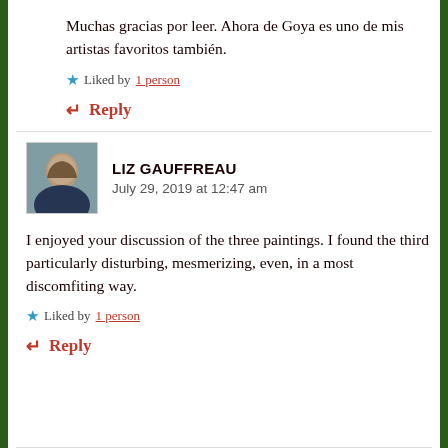Muchas gracias por leer. Ahora de Goya es uno de mis artistas favoritos también.
★ Liked by 1 person
↵ Reply
LIZ GAUFFREAU
July 29, 2019 at 12:47 am
I enjoyed your discussion of the three paintings. I found the third particularly disturbing, mesmerizing, even, in a most discomfiting way.
★ Liked by 1 person
↵ Reply